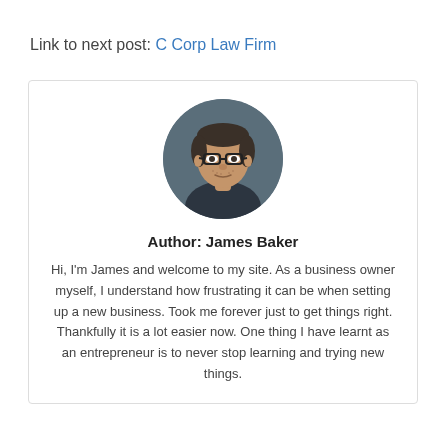Link to next post: C Corp Law Firm
[Figure (photo): Circular headshot photo of James Baker, a man with glasses and stubble, wearing casual clothing, smiling slightly.]
Author: James Baker
Hi, I'm James and welcome to my site. As a business owner myself, I understand how frustrating it can be when setting up a new business. Took me forever just to get things right. Thankfully it is a lot easier now. One thing I have learnt as an entrepreneur is to never stop learning and trying new things.